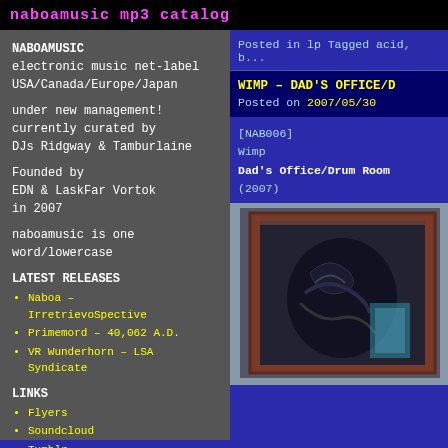naboamusic mp3 catalog
NABOAMUSIC
electronic music net-label
USA/Canada/Europe/Japan

under new management!
currently curated by
DJs Ridgway & Tamburlaine

Founded by
EDN & LaskFar Vortok
in 2007

naboamusic is one
word/lowercase
LATEST RELEASES
Naboa – IrretrievoSpective
Primemord – 40,062 A.D.
VR Wunderhorn – LSA Syndicate
LINKS
Flyers
Soundcloud
Tumblr
YouTube
Discogs
Posted in lp Tagged acid, b...
WIMP – DAD'S OFFICE/D...
Posted on 2007/05/30
[NAB006]
Wimp
Dad's Office/Drum Room
(2007)
[Figure (photo): Album cover artwork showing framed graphic art with dark illustration of a stylized figure/face]